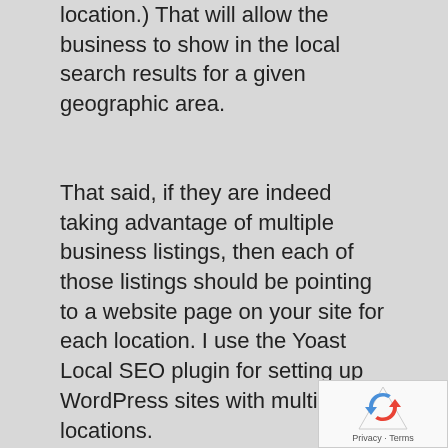location.) That will allow the business to show in the local search results for a given geographic area.
That said, if they are indeed taking advantage of multiple business listings, then each of those listings should be pointing to a website page on your site for each location. I use the Yoast Local SEO plugin for setting up WordPress sites with multiple locations.